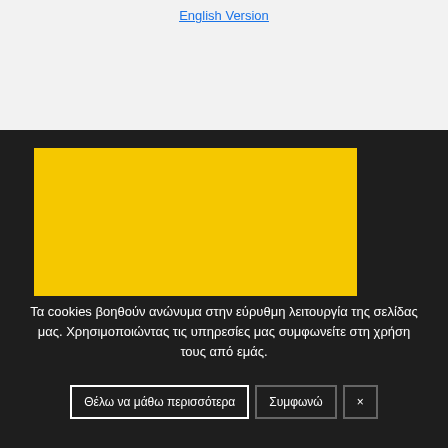English Version
[Figure (other): Yellow rectangle placeholder image on dark background]
Τα cookies βοηθούν ανώνυμα στην εύρυθμη λειτουργία της σελίδας μας. Χρησιμοποιώντας τις υπηρεσίες μας συμφωνείτε στη χρήση τους από εμάς.
Θέλω να μάθω περισσότερα
Συμφωνώ
×